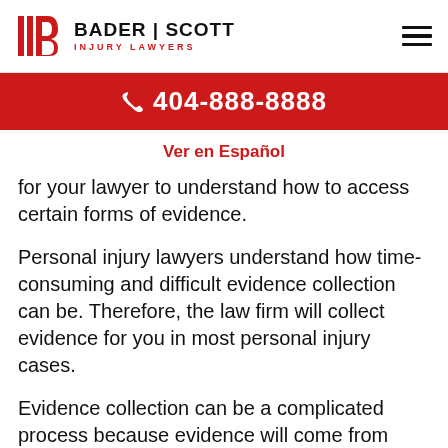[Figure (logo): Bader Scott Injury Lawyers logo with red B icon and firm name]
☎ 404-888-8888
Ver en Español
for your lawyer to understand how to access certain forms of evidence.
Personal injury lawyers understand how time-consuming and difficult evidence collection can be. Therefore, the law firm will collect evidence for you in most personal injury cases.
Evidence collection can be a complicated process because evidence will come from